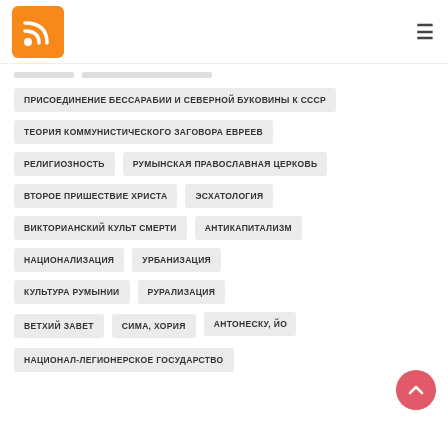[Figure (logo): RSS feed orange icon logo in top left corner]
ПРИСОЕДИНЕНИЕ БЕССАРАБИИ И СЕВЕРНОЙ БУКОВИНЫ К СССР
ТЕОРИЯ КОММУНИСТИЧЕСКОГО ЗАГОВОРА ЕВРЕЕВ
РЕЛИГИОЗНОСТЬ
РУМЫНСКАЯ ПРАВОСЛАВНАЯ ЦЕРКОВЬ
ВТОРОЕ ПРИШЕСТВИЕ ХРИСТА
ЭСХАТОЛОГИЯ
ВИКТОРИАНСКИЙ КУЛЬТ СМЕРТИ
АНТИКАПИТАЛИЗМ
НАЦИОНАЛИЗАЦИЯ
УРБАНИЗАЦИЯ
КУЛЬТУРА РУМЫНИИ
РУРАЛИЗАЦИЯ
ВЕТХИЙ ЗАВЕТ
СИМА, ХОРИЯ
АНТОНЕСКУ, ЙО…
НАЦИОНАЛ-ЛЕГИОНЕРСКОЕ ГОСУДАРСТВО